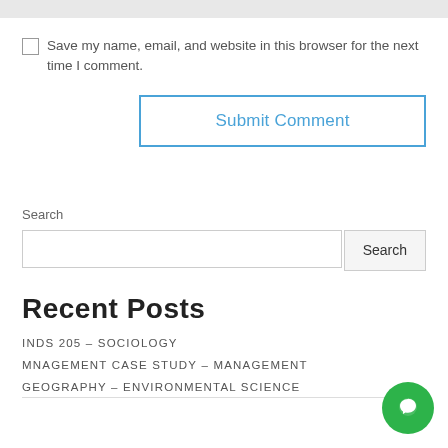Save my name, email, and website in this browser for the next time I comment.
Submit Comment
Search
Recent Posts
INDS 205 – SOCIOLOGY
MNAGEMENT CASE STUDY – MANAGEMENT
GEOGRAPHY – ENVIRONMENTAL SCIENCE